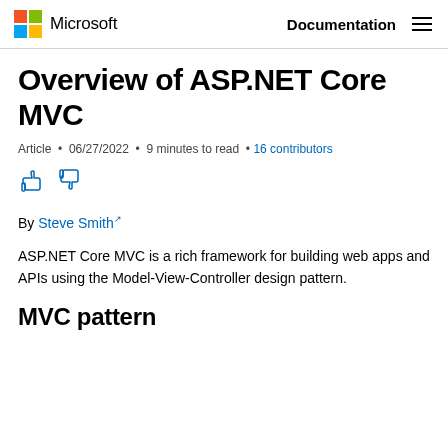Microsoft  Documentation
Overview of ASP.NET Core MVC
Article • 06/27/2022 • 9 minutes to read • 16 contributors
[Figure (illustration): Thumbs up and thumbs down feedback icons in blue outline style]
By Steve Smith
ASP.NET Core MVC is a rich framework for building web apps and APIs using the Model-View-Controller design pattern.
MVC pattern